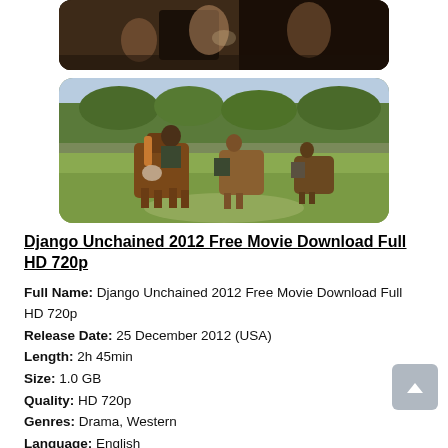[Figure (photo): Top cropped movie still – dark indoor scene with two figures, moody lighting]
[Figure (photo): Movie still from Django Unchained – riders on horseback in a sunny green field, period costumes]
Django Unchained 2012 Free Movie Download Full HD 720p
Full Name: Django Unchained 2012 Free Movie Download Full HD 720p
Release Date: 25 December 2012 (USA)
Length: 2h 45min
Size: 1.0 GB
Quality: HD 720p
Genres: Drama, Western
Language: English
Cast: Jamie Foxx, Christoph Waltz, Leonardo DiCaprio